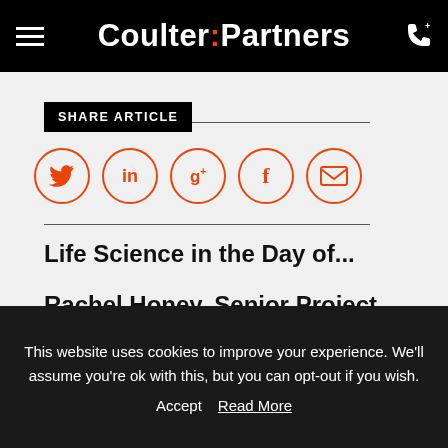Coulter:Partners
SHARE ARTICLE
[Figure (infographic): Social sharing icons row: Twitter (bird), LinkedIn (in), Google+ (g+), Facebook (f), Email (envelope) — all in orange circle outlines]
Life Science in the Day of...
Rachel Honey, Senior Project Coordinator
This website uses cookies to improve your experience. We'll assume you're ok with this, but you can opt-out if you wish.
Accept   Read More